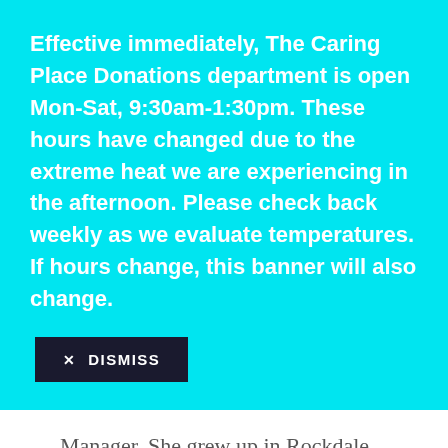Effective immediately, The Caring Place Donations department is open Mon-Sat, 9:30am-1:30pm. These hours have changed due to the extreme heat we are experiencing in the afternoon. Please check back weekly as we evaluate temperatures. If hours change, this banner will also change.
✕ DISMISS
Manager. She grew up in Rockdale, moved to Georgetown in 1971 where she worked in the insurance industry for 39 years, and owned her own company for 18 years. After retiring in 2005, Ms. Scurlock, and her husband, Dan, wanted to give back to their community, and started a cooking program at Gabriel Oaks